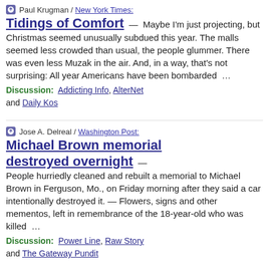Paul Krugman / New York Times:
Tidings of Comfort
— Maybe I'm just projecting, but Christmas seemed unusually subdued this year. The malls seemed less crowded than usual, the people glummer. There was even less Muzak in the air. And, in a way, that's not surprising: All year Americans have been bombarded …
Discussion: Addicting Info, AlterNet and Daily Kos
Jose A. Delreal / Washington Post:
Michael Brown memorial destroyed overnight
— People hurriedly cleaned and rebuilt a memorial to Michael Brown in Ferguson, Mo., on Friday morning after they said a car intentionally destroyed it. — Flowers, signs and other mementos, left in remembrance of the 18-year-old who was killed …
Discussion: Power Line, Raw Story and The Gateway Pundit
KIRO-TV:
Woma…
[Figure (photo): Thumbnail photo associated with KIRO-TV article, showing a partially visible image]